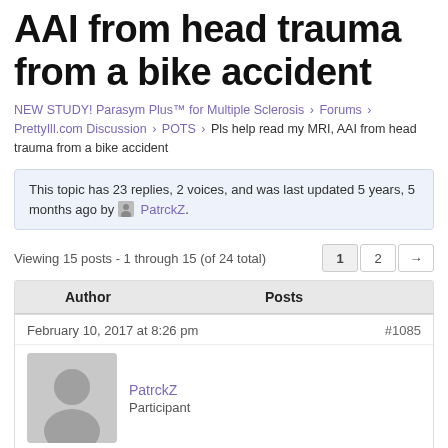AAI from head trauma from a bike accident
NEW STUDY! Parasym Plus™ for Multiple Sclerosis › Forums › PrettyIll.com Discussion › POTS › Pls help read my MRI, AAI from head trauma from a bike accident
This topic has 23 replies, 2 voices, and was last updated 5 years, 5 months ago by PatrckZ.
Viewing 15 posts - 1 through 15 (of 24 total)
| Author | Posts |
| --- | --- |
| February 10, 2017 at 8:26 pm | #1085 |
| PatrckZ
Participant |  |
I will try to keep it short.
Had a bike accident 5 years ago, with axial plus flexion impact on my